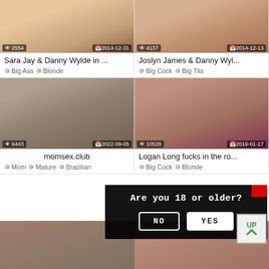[Figure (screenshot): Adult video thumbnail grid with 4 video cards (2x2), each showing a blurred/colored thumbnail image with view count, date badge, title, and category tags. Below the grid are two more partial thumbnails. An age verification overlay dialog appears over the bottom portion.]
2554
2014-12-31
Sara Jay & Danny Wylde in ...
Big Ass  Blonde
4137
2014-12-13
Joslyn James & Danny Wyl...
Big Cock  Big Tits
6443
2022-09-05
momsex.club
Mom  Mature  Brazilian
10528
2019-01-17
Logan Long fucks in the ro...
Big Cock  Blonde
Are you 18 or older?
NO
YES